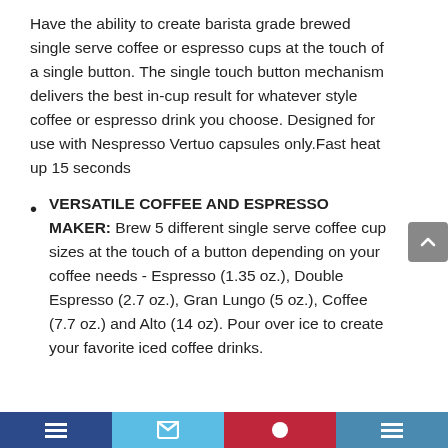Have the ability to create barista grade brewed single serve coffee or espresso cups at the touch of a single button. The single touch button mechanism delivers the best in-cup result for whatever style coffee or espresso drink you choose. Designed for use with Nespresso Vertuo capsules only.Fast heat up 15 seconds
VERSATILE COFFEE AND ESPRESSO MAKER: Brew 5 different single serve coffee cup sizes at the touch of a button depending on your coffee needs - Espresso (1.35 oz.), Double Espresso (2.7 oz.), Gran Lungo (5 oz.), Coffee (7.7 oz.) and Alto (14 oz). Pour over ice to create your favorite iced coffee drinks.